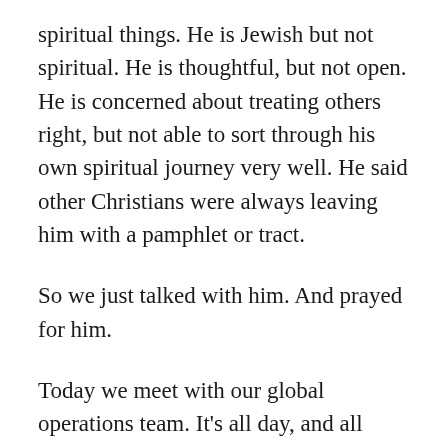spiritual things. He is Jewish but not spiritual. He is thoughtful, but not open. He is concerned about treating others right, but not able to sort through his own spiritual journey very well. He said other Christians were always leaving him with a pamphlet or tract.
So we just talked with him. And prayed for him.
Today we meet with our global operations team. It's all day, and all good. We're praying and planning how to build greater capacity for sustaining the Great Commission around the